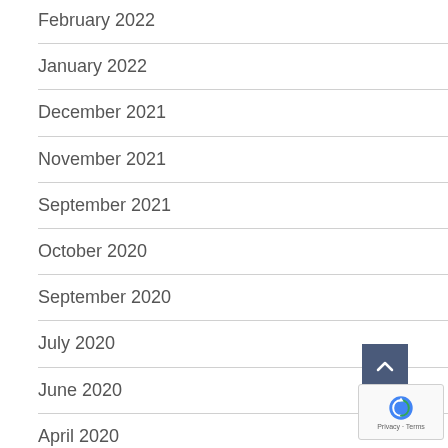February 2022
January 2022
December 2021
November 2021
September 2021
October 2020
September 2020
July 2020
June 2020
April 2020
February 2020